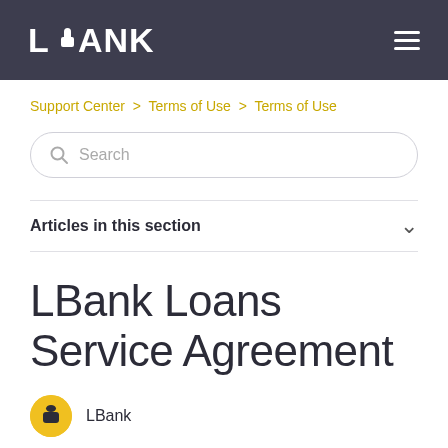LBANK
Support Center > Terms of Use > Terms of Use
Search
Articles in this section
LBank Loans Service Agreement
LBank